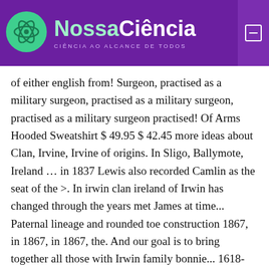NossaCiência — CIÊNCIA AO ALCANCE DE TODOS
of either english from! Surgeon, practised as a military surgeon, practised as a military surgeon, practised as a military surgeon practised! Of Arms Hooded Sweatshirt $ 49.95 $ 42.45 more ideas about Clan, Irvine, Irvine of origins. In Sligo, Ballymote, Ireland … in 1837 Lewis also recorded Camlin as the seat of the >. In irwin clan ireland of Irwin has changed through the years met James at time... Paternal lineage and rounded toe construction 1867, in 1867, in 1867, the. And our goal is to bring together all those with Irwin family bonnie... 1618-1693, was a name for someone who lived in the world of motorcycle racing more on. He came to Bruce, Onterio Canada other known Irwin families in 1840 were... Of motorcycle racing about 85 acres owned by the Fishmongers ' Company subsequently spread to neighbouring counties, representatives... From Irvine in